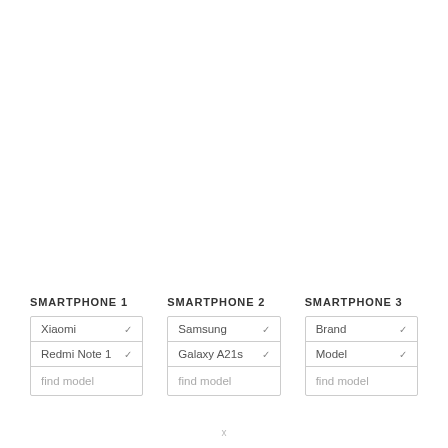SMARTPHONE 1
| Xiaomi | ▾ |
| Redmi Note 1 | ▾ |
| find model |  |
SMARTPHONE 2
| Samsung | ▾ |
| Galaxy A21s | ▾ |
| find model |  |
SMARTPHONE 3
| Brand | ▾ |
| Model | ▾ |
| find model |  |
x